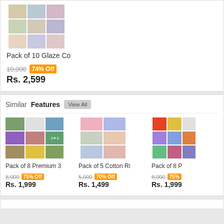[Figure (photo): Product image grid for Pack of 10 Glaze Co bedsheets showing multiple color variants in a mosaic layout]
Pack of 10 Glaze Co
10,000  74% Off
Rs. 2,599
Similar Features  View All
[Figure (photo): Product image grid for Pack of 8 Premium 3 bedsheets]
Pack of 8 Premium 3
8,000  75% Off
Rs. 1,999
[Figure (photo): Product image grid for Pack of 5 Cotton Ri bedsheets]
Pack of 5 Cotton Ri
5,000  70% Off
Rs. 1,499
[Figure (photo): Product image grid for Pack of 8 P bedsheets]
Pack of 8 P
8,000  75%
Rs. 1,999